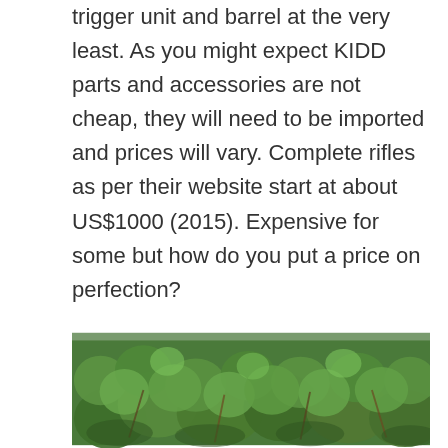trigger unit and barrel at the very least. As you might expect KIDD parts and accessories are not cheap, they will need to be imported and prices will vary. Complete rifles as per their website start at about US$1000 (2015). Expensive for some but how do you put a price on perfection?

Head down to your local dealer and don't forget your wallet!
[Figure (photo): Close-up photograph of green clover or similar round-leafed ground-cover plants]